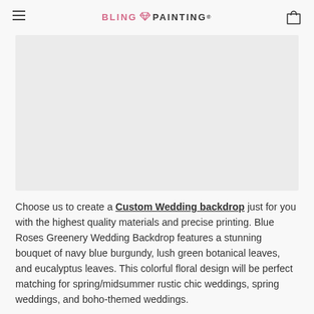BLING PAINTING®
[Figure (photo): Large light gray rectangular product image placeholder area]
Choose us to create a Custom Wedding backdrop just for you with the highest quality materials and precise printing. Blue Roses Greenery Wedding Backdrop features a stunning bouquet of navy blue burgundy, lush green botanical leaves, and eucalyptus leaves. This colorful floral design will be perfect matching for spring/midsummer rustic chic weddings, spring weddings, and boho-themed weddings.